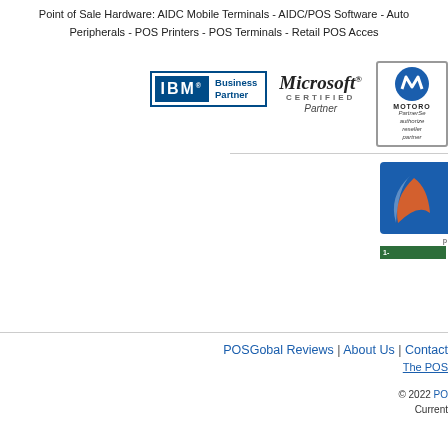Point of Sale Hardware: AIDC Mobile Terminals - AIDC/POS Software - Auto Peripherals - POS Printers - POS Terminals - Retail POS Acces
[Figure (logo): IBM Business Partner logo - blue square with IBM text and Business Partner label]
[Figure (logo): Microsoft Certified Partner logo]
[Figure (logo): Motorola PartnerSelect authorized reseller partner badge]
[Figure (logo): Partially visible blue and orange logo on right side with green bar showing 1-]
POSGobal Reviews | About Us | Contact
The POS
© 2022 PO Current